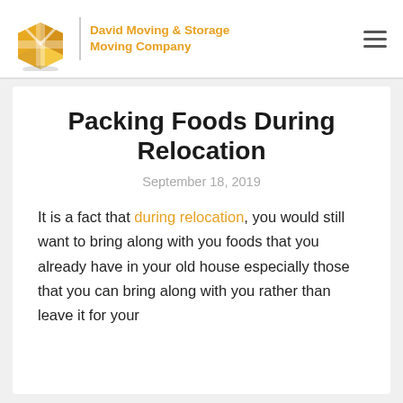[Figure (logo): David Moving & Storage Moving Company logo with a golden box icon and orange text]
Packing Foods During Relocation
September 18, 2019
It is a fact that during relocation, you would still want to bring along with you foods that you already have in your old house especially those that you can bring along with you rather than leave it for your